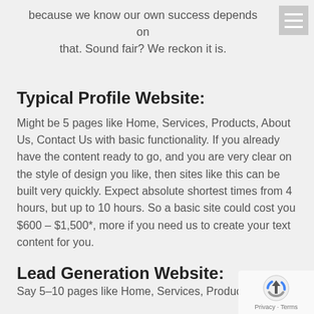because we know our own success depends on that. Sound fair? We reckon it is.
Typical Profile Website:
Might be 5 pages like Home, Services, Products, About Us, Contact Us with basic functionality. If you already have the content ready to go, and you are very clear on the style of design you like, then sites like this can be built very quickly. Expect absolute shortest times from 4 hours, but up to 10 hours. So a basic site could cost you $600 – $1,500*, more if you need us to create your text content for you.
Lead Generation Website:
Say 5-10 pages like Home, Services, Products...